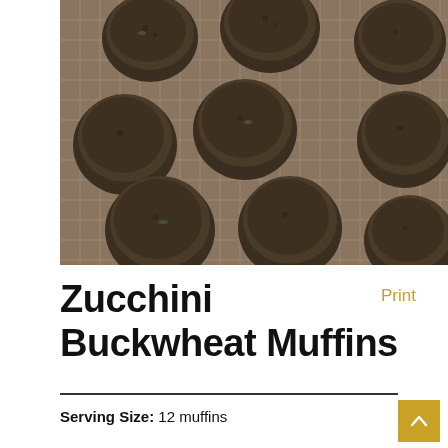[Figure (photo): Overhead view of zucchini buckwheat muffins cooling on a wire rack, dark brown muffins with textured tops arranged on a metal grid cooling rack against a light wooden surface]
Zucchini Buckwheat Muffins
Print
Serving Size: 12 muffins